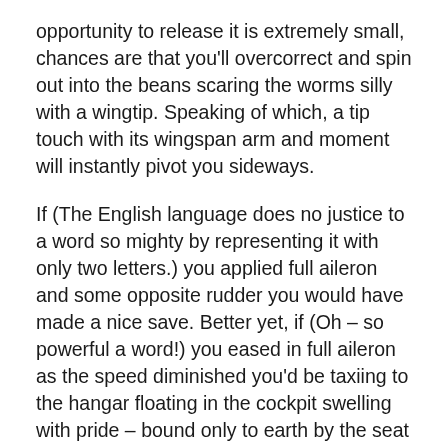opportunity to release it is extremely small, chances are that you'll overcorrect and spin out into the beans scaring the worms silly with a wingtip. Speaking of which, a tip touch with its wingspan arm and moment will instantly pivot you sideways.
If (The English language does no justice to a word so mighty by representing it with only two letters.) you applied full aileron and some opposite rudder you would have made a nice save. Better yet, if (Oh – so powerful a word!) you eased in full aileron as the speed diminished you'd be taxiing to the hangar floating in the cockpit swelling with pride – bound only to earth by the seat belts; instead you'll need to try and relax the sphincter muscle to remove the seat cushion.
I feel a little out of place preaching about something that I've never experienced, but I...